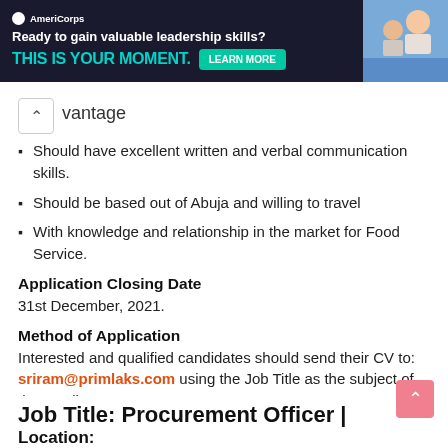[Figure (screenshot): Advertisement banner: AmeriCorps logo, text 'Ready to gain valuable leadership skills? THIS IS YOUR MOMENT.' with LEARN MORE button and a photo of people]
vantage
Should have excellent written and verbal communication skills.
Should be based out of Abuja and willing to travel
With knowledge and relationship in the market for Food Service.
Application Closing Date
31st December, 2021.
Method of Application
Interested and qualified candidates should send their CV to: sriram@primlaks.com using the Job Title as the subject of the email.
Job Title: Procurement Officer |